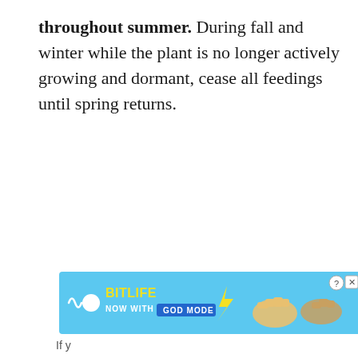throughout summer. During fall and winter while the plant is no longer actively growing and dormant, cease all feedings until spring returns.
[Figure (illustration): BitLife advertisement banner with blue background, BitLife logo, 'NOW WITH GOD MODE' text, lightning bolt graphic, and hand pointer illustration with close/help buttons]
If y